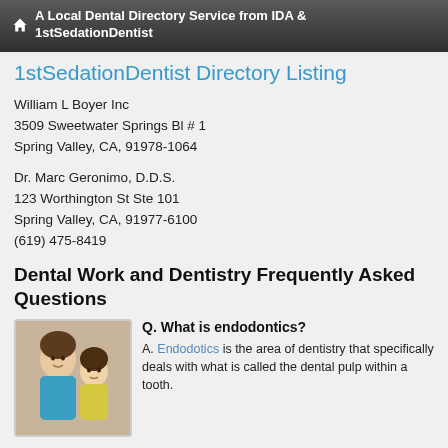A Local Dental Directory Service from IDA & 1stSedationDentist
1stSedationDentist Directory Listing
William L Boyer Inc
3509 Sweetwater Springs Bl # 1
Spring Valley, CA, 91978-1064
Dr. Marc Geronimo, D.D.S.
123 Worthington St Ste 101
Spring Valley, CA, 91977-6100
(619) 475-8419
Dental Work and Dentistry Frequently Asked Questions
Q. What is endodontics?
[Figure (photo): Photo of a woman and young girl smiling together]
A. Endodotics is the area of dentistry that specifically deals with what is called the dental pulp within a tooth.
Q. What is dental pulp?